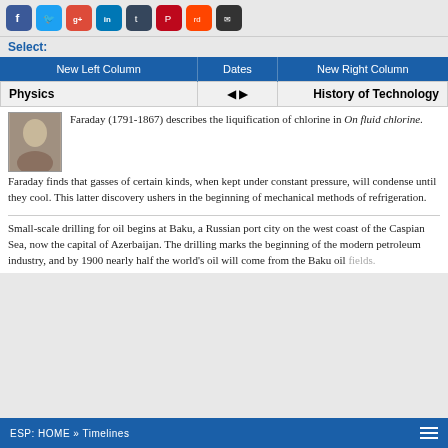[Figure (infographic): Social media sharing icons: Facebook, Twitter, Google+, LinkedIn, Tumblr, Pinterest, Reddit, Email]
Select:
| New Left Column | Dates | New Right Column |
| --- | --- | --- |
| Physics | ◄ ► | History of Technology |
Faraday (1791-1867) describes the liquification of chlorine in On fluid chlorine. Faraday finds that gasses of certain kinds, when kept under constant pressure, will condense until they cool. This latter discovery ushers in the beginning of mechanical methods of refrigeration.
Small-scale drilling for oil begins at Baku, a Russian port city on the west coast of the Caspian Sea, now the capital of Azerbaijan. The drilling marks the beginning of the modern petroleum industry, and by 1900 nearly half the world's oil will come from the Baku oil fields.
ESP: HOME » Timelines